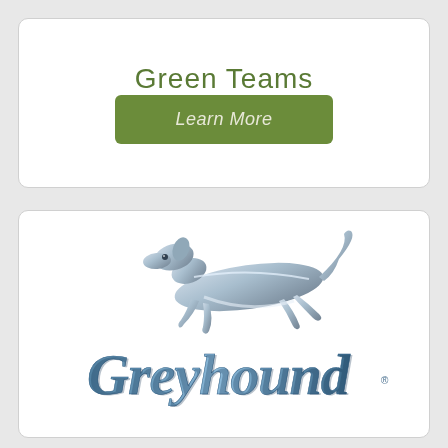Green Teams
Learn More
[Figure (logo): Greyhound bus company logo featuring a silver/blue running greyhound dog above the stylized italic word 'Greyhound' in blue metallic lettering]